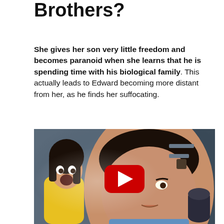Brothers?
She gives her son very little freedom and becomes paranoid when she learns that he is spending time with his biological family. This actually leads to Edward becoming more distant from her, as he finds her suffocating.
[Figure (screenshot): A YouTube video thumbnail showing a woman yelling on the left and a young boy looking distressed in the foreground, with a red YouTube play button overlay in the center.]